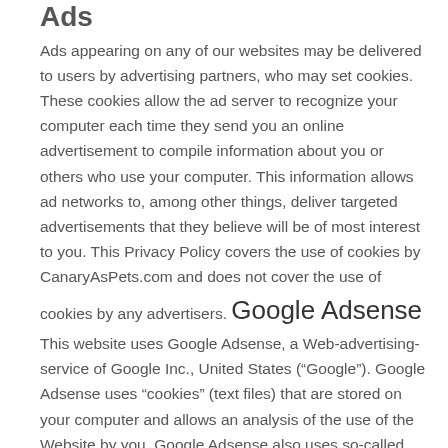Ads
Ads appearing on any of our websites may be delivered to users by advertising partners, who may set cookies. These cookies allow the ad server to recognize your computer each time they send you an online advertisement to compile information about you or others who use your computer. This information allows ad networks to, among other things, deliver targeted advertisements that they believe will be of most interest to you. This Privacy Policy covers the use of cookies by CanaryAsPets.com and does not cover the use of cookies by any advertisers. Google Adsense
This website uses Google Adsense, a Web-advertising-service of Google Inc., United States (“Google”). Google Adsense uses “cookies” (text files) that are stored on your computer and allows an analysis of the use of the Website by you. Google Adsense also uses so-called “web beacons” (small invisible images) to